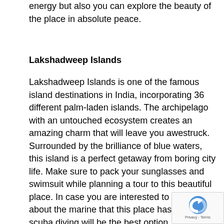energy but also you can explore the beauty of the place in absolute peace.
Lakshadweep Islands
Lakshadweep Islands is one of the famous island destinations in India, incorporating 36 different palm-laden islands. The archipelago with an untouched ecosystem creates an amazing charm that will leave you awestruck. Surrounded by the brilliance of blue waters, this island is a perfect getaway from boring city life. Make sure to pack your sunglasses and swimsuit while planning a tour to this beautiful place. In case you are interested to know more about the marine that this place has to offer, scuba diving will be the best option.
Munroe Island, Kerala
Munroe Island in Kerala is a cluster of 8 islands, each of them differentiated from the other via canals and lakes. Situated at a distance of 27km from Kollam, the place is named after Colonel John Munroe, who used to serve the princely state of Travancore. Munroe Island has risen to fame due to the famous